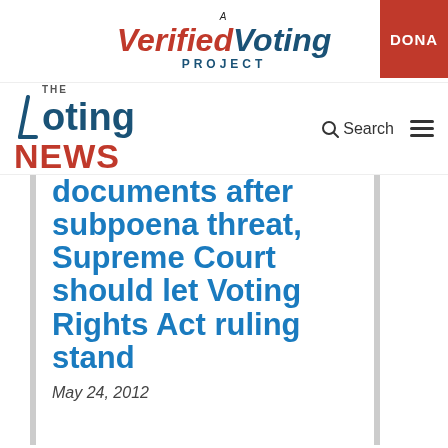A Verified Voting PROJECT | DONATE
THE Voting NEWS | Search
documents after subpoena threat, Supreme Court should let Voting Rights Act ruling stand
May 24, 2012